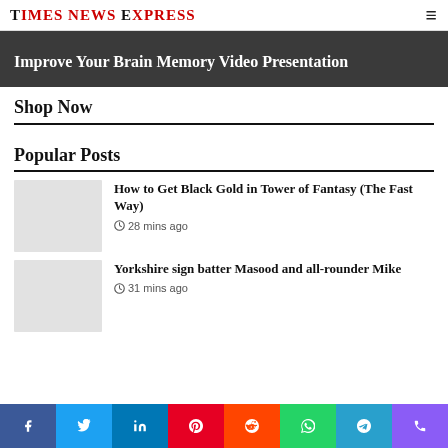Times News Express
Improve Your Brain Memory Video Presentation
Shop Now
Popular Posts
How to Get Black Gold in Tower of Fantasy (The Fast Way)
28 mins ago
Yorkshire sign batter Masood and all-rounder Mike
31 mins ago
Social share bar: Facebook, Twitter, LinkedIn, Pinterest, Reddit, WhatsApp, Telegram, Phone